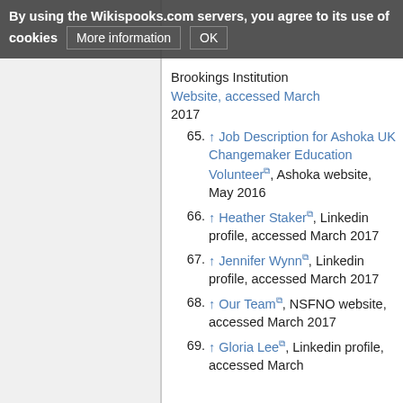By using the Wikispooks.com servers, you agree to its use of cookies  More information  OK
64. [partial] Brookings Institution Website, accessed March 2017
65. ↑ Job Description for Ashoka UK Changemaker Education Volunteer, Ashoka website, May 2016
66. ↑ Heather Staker, Linkedin profile, accessed March 2017
67. ↑ Jennifer Wynn, Linkedin profile, accessed March 2017
68. ↑ Our Team, NSFNO website, accessed March 2017
69. ↑ Gloria Lee, Linkedin profile, accessed March 2017